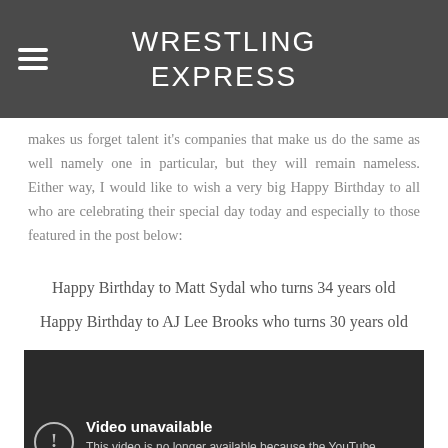WRESTLING EXPRESS
makes us forget talent it's companies that make us do the same as well namely one in particular, but they will remain nameless. Either way, I would like to wish a very big Happy Birthday to all who are celebrating their special day today and especially to those featured in the post below:
Happy Birthday to Matt Sydal who turns 34 years old
Happy Birthday to AJ Lee Brooks who turns 30 years old
[Figure (screenshot): Embedded YouTube video player showing 'Video unavailable' message: 'This video is no longer available because the YouTube account associated with this video has been']